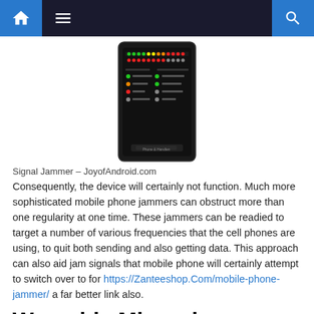Navigation bar with home, menu, and search icons
[Figure (photo): A signal jammer device with LED indicator lights on a dark background]
Signal Jammer – JoyofAndroid.com
Consequently, the device will certainly not function. Much more sophisticated mobile phone jammers can obstruct more than one regularity at one time. These jammers can be readied to target a number of various frequencies that the cell phones are using, to quit both sending and also getting data. This approach can also aid jam signals that mobile phone will certainly attempt to switch over to for https://Zanteeshop.Com/mobile-phone-jammer/ a far better link also.
Wearable Microphone Jamming